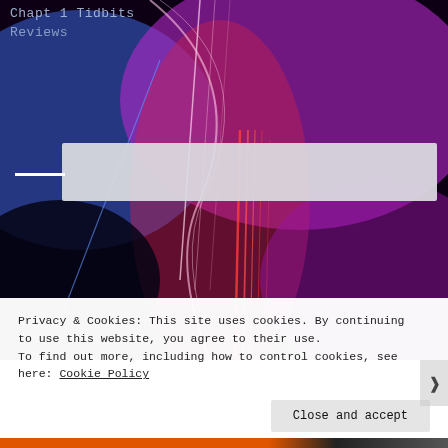Chapt 1 Tidbits
Reviews
[Figure (photo): Abstract colorful light streaks background with blue, red, pink and purple glowing lines on dark background]
Privacy & Cookies: This site uses cookies. By continuing to use this website, you agree to their use.
To find out more, including how to control cookies, see here: Cookie Policy
Close and accept